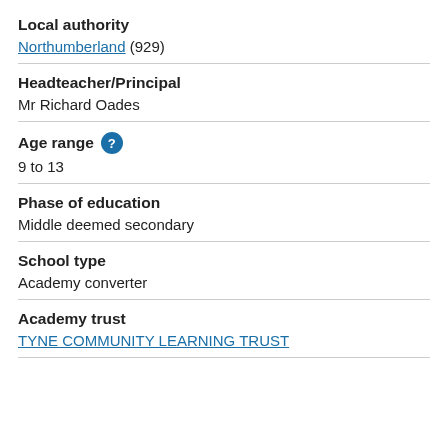Local authority
Northumberland (929)
Headteacher/Principal
Mr Richard Oades
Age range
9 to 13
Phase of education
Middle deemed secondary
School type
Academy converter
Academy trust
TYNE COMMUNITY LEARNING TRUST